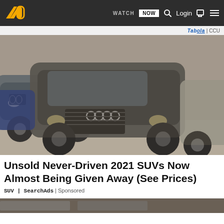MotorTrend - WATCH NOW | Login
[Figure (photo): Photo of dusty unsold SUVs including Audi Q7 and BMW X5 parked in a warehouse covered in dust/dirt]
Unsold Never-Driven 2021 SUVs Now Almost Being Given Away (See Prices)
SUV | SearchAds | Sponsored
[Figure (photo): Partial view of another image at the bottom of the page]